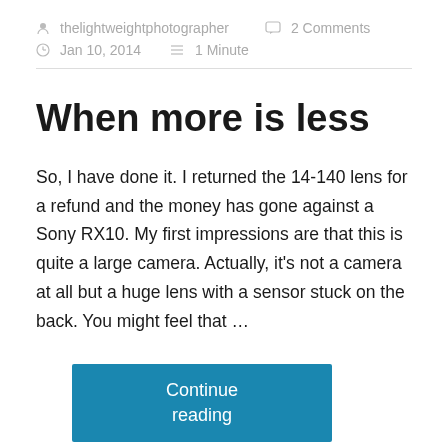thelightweightphotographer   2 Comments   Jan 10, 2014   1 Minute
When more is less
So, I have done it. I returned the 14-140 lens for a refund and the money has gone against a Sony RX10. My first impressions are that this is quite a large camera. Actually, it's not a camera at all but a huge lens with a sensor stuck on the back. You might feel that …
Continue reading